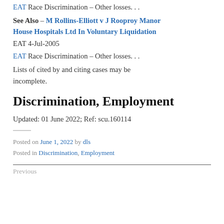EAT Race Discrimination – Other losses. . .
See Also – M Rollins-Elliott v J Rooproy Manor House Hospitals Ltd In Voluntary Liquidation EAT 4-Jul-2005
EAT Race Discrimination – Other losses. . .
Lists of cited by and citing cases may be incomplete.
Discrimination, Employment
Updated: 01 June 2022; Ref: scu.160114
Posted on June 1, 2022 by dls
Posted in Discrimination, Employment
Previous